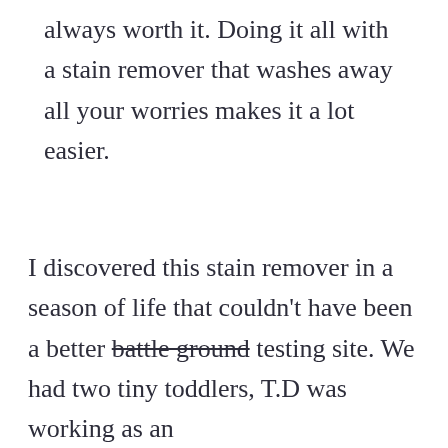always worth it. Doing it all with a stain remover that washes away all your worries makes it a lot easier.
I discovered this stain remover in a season of life that couldn't have been a better battle ground testing site. We had two tiny toddlers, T.D was working as an RN...